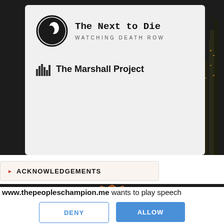[Figure (screenshot): App card showing 'The Next to Die – Watching Death Row' app with circular icon (silhouette figure) and The Marshall Project logo with bar-chart icon]
ACKNOWLEDGEMENTS
[Figure (illustration): Badge graphic with 'BEST Crime News' text in orange and gold on dark red/brown badge shape]
www.thepeopleschampion.me wants to play speech
DENY
ALLOW